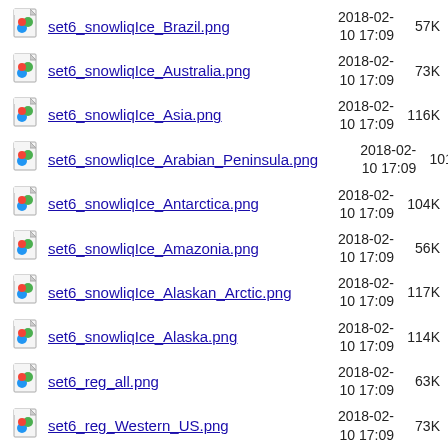set6_snowliqIce_Brazil.png  2018-02-10 17:09  57K
set6_snowliqIce_Australia.png  2018-02-10 17:09  73K
set6_snowliqIce_Asia.png  2018-02-10 17:09  116K
set6_snowliqIce_Arabian_Peninsula.png  2018-02-10 17:09  101K
set6_snowliqIce_Antarctica.png  2018-02-10 17:09  104K
set6_snowliqIce_Amazonia.png  2018-02-10 17:09  56K
set6_snowliqIce_Alaskan_Arctic.png  2018-02-10 17:09  117K
set6_snowliqIce_Alaska.png  2018-02-10 17:09  114K
set6_reg_all.png  2018-02-10 17:09  63K
set6_reg_Western_US.png  2018-02-10 17:09  73K
set6_reg_Western_Siberia.png  2018-02-10 17:08  73K